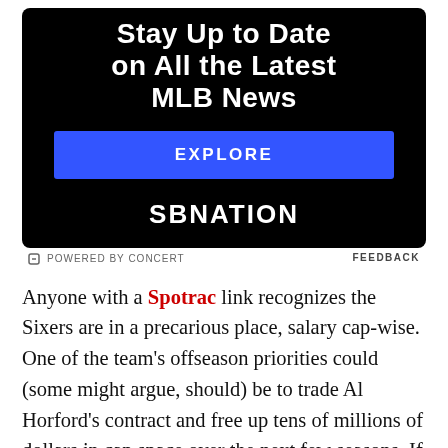[Figure (infographic): SBNation advertisement banner with black background. Text reads 'Stay Up to Date on All the Latest MLB News' in white bold font, a blue EXPLORE button, and SBNation logo at the bottom.]
POWERED BY CONCERT   FEEDBACK
Anyone with a Spotrac link recognizes the Sixers are in a precarious place, salary cap-wise. One of the team's offseason priorities could (some might argue, should) be to trade Al Horford's contract and free up tens of millions of dollars in cap space over the next few seasons. If a team is particularly enamored with what Micic has shown overseas, he could be the